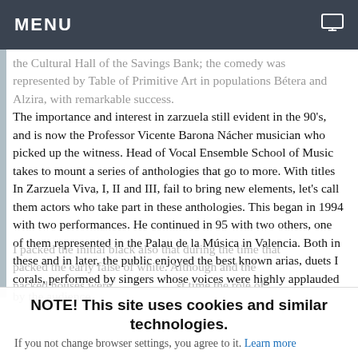MENU
the Cultural Hall of the Savings Bank; the comedy was represented by Table of Primitive Art in populations Bétera and Alzira, with remarkable success.
The importance and interest in zarzuela still evident in the 90's, and is now the Professor Vicente Barona Nácher musician who picked up the witness. Head of Vocal Ensemble School of Music takes to mount a series of anthologies that go to more. With titles In Zarzuela Viva, I, II and III, fail to bring new elements, let's call them actors who take part in these anthologies. This began in 1994 with two performances. He continued in 95 with two others, one of them represented in the Palau de la Música in Valencia. Both in these and in later, the public enjoyed the best known arias, duets I corals, performed by singers whose voices were highly applauded by the audience.
I packed the initial black also that during the time that packed the early false of white. Although and the packed houses were most st time the role of
NOTE! This site uses cookies and similar technologies.
If you not change browser settings, you agree to it. Learn more